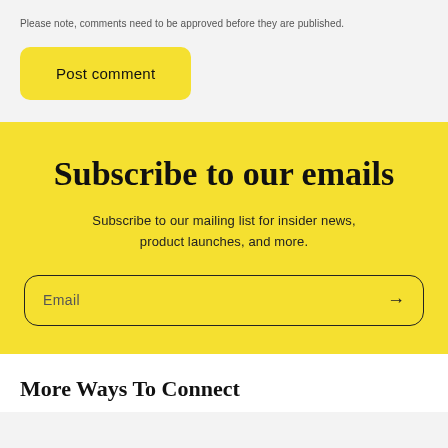Please note, comments need to be approved before they are published.
Post comment
Subscribe to our emails
Subscribe to our mailing list for insider news, product launches, and more.
Email
More Ways To Connect